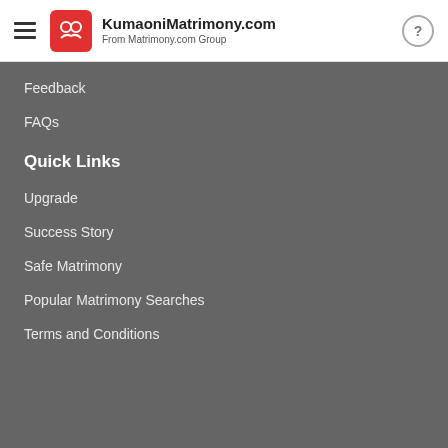KumaoniMatrimony.com — From Matrimony.com Group
Feedback
FAQs
Quick Links
Upgrade
Success Story
Safe Matrimony
Popular Matrimony Searches
Terms and Conditions